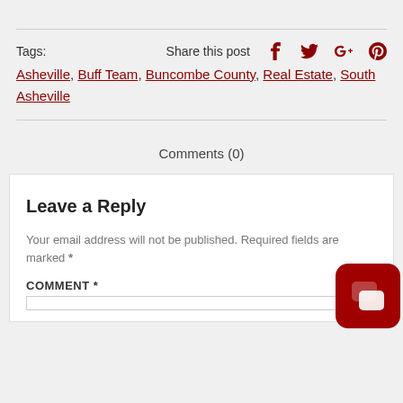Tags:   Share this post   f   Twitter   G+   Pinterest
Asheville, Buff Team, Buncombe County, Real Estate, South Asheville
Comments (0)
Leave a Reply
Your email address will not be published. Required fields are marked *
COMMENT *